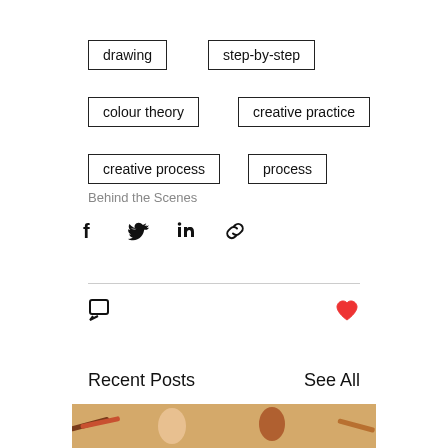drawing
step-by-step
colour theory
creative practice
creative process
process
Behind the Scenes
[Figure (other): Share buttons row: Facebook, Twitter, LinkedIn, link/copy icons]
[Figure (other): Comment icon on left, heart/like icon in red on right]
Recent Posts
See All
[Figure (photo): Illustration of dancing figures with coloured pencils, warm background tones]